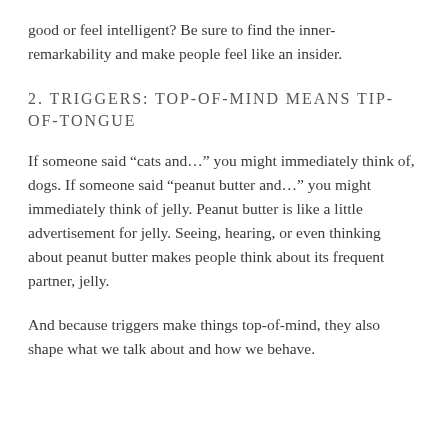good or feel intelligent? Be sure to find the inner-remarkability and make people feel like an insider.
2. TRIGGERS: TOP-OF-MIND MEANS TIP-OF-TONGUE
If someone said “cats and…” you might immediately think of, dogs. If someone said “peanut butter and…” you might immediately think of jelly. Peanut butter is like a little advertisement for jelly. Seeing, hearing, or even thinking about peanut butter makes people think about its frequent partner, jelly.
And because triggers make things top-of-mind, they also shape what we talk about and how we behave.